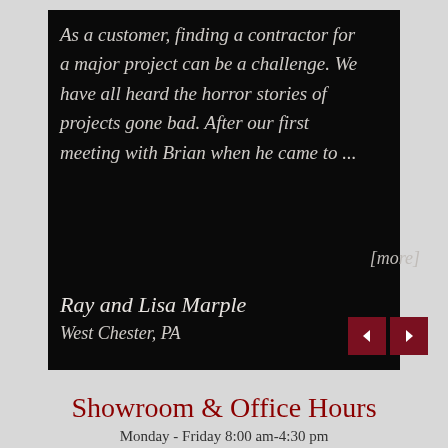As a customer, finding a contractor for a major project can be a challenge. We have all heard the horror stories of projects gone bad. After our first meeting with Brian when he came to ...
[more]
Ray and Lisa Marple
West Chester, PA
Showroom & Office Hours
Monday - Friday 8:00 am-4:30 pm